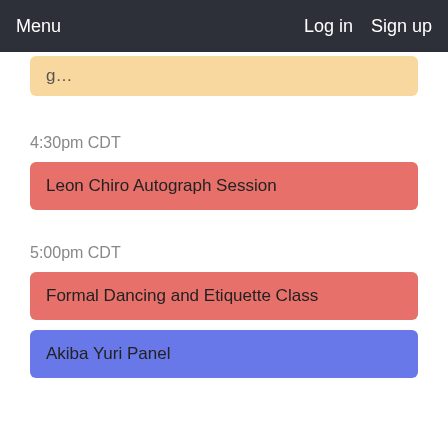Menu   Log in   Sign up
g...
4:30pm CDT
Leon Chiro Autograph Session
5:00pm CDT
Formal Dancing and Etiquette Class
Akiba Yuri Panel
5:30pm CDT